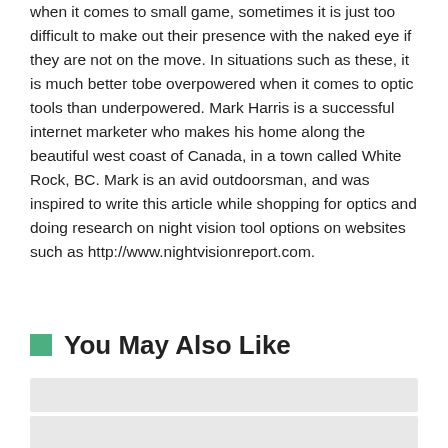when it comes to small game, sometimes it is just too difficult to make out their presence with the naked eye if they are not on the move. In situations such as these, it is much better tobe overpowered when it comes to optic tools than underpowered. Mark Harris is a successful internet marketer who makes his home along the beautiful west coast of Canada, in a town called White Rock, BC. Mark is an avid outdoorsman, and was inspired to write this article while shopping for optics and doing research on night vision tool options on websites such as http://www.nightvisionreport.com.
You May Also Like